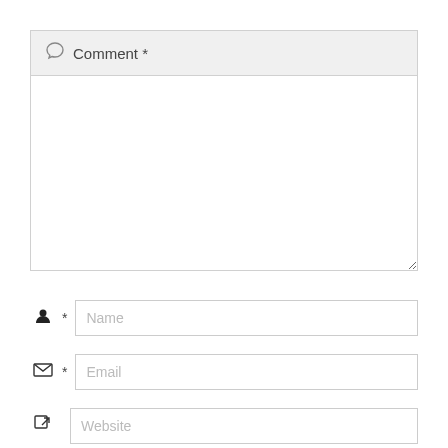Comment *
[Figure (other): Comment text area form field — large empty textarea with resize handle]
[Figure (other): Name input field with person icon and asterisk]
[Figure (other): Email input field with envelope icon and asterisk]
[Figure (other): Website input field with link icon (partially visible)]